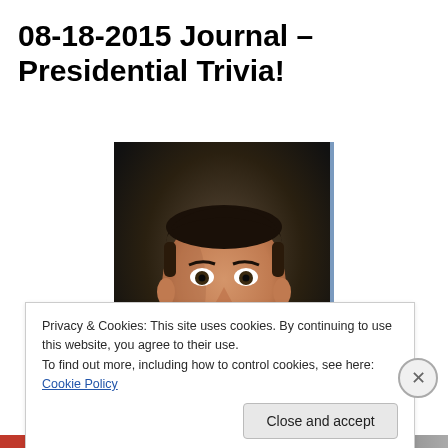08-18-2015 Journal – Presidential Trivia!
[Figure (photo): Official portrait photo of Ronald Reagan, smiling, wearing a dark suit with a dark tie, against a dark background with decorative elements.]
Privacy & Cookies: This site uses cookies. By continuing to use this website, you agree to their use.
To find out more, including how to control cookies, see here: Cookie Policy
Close and accept